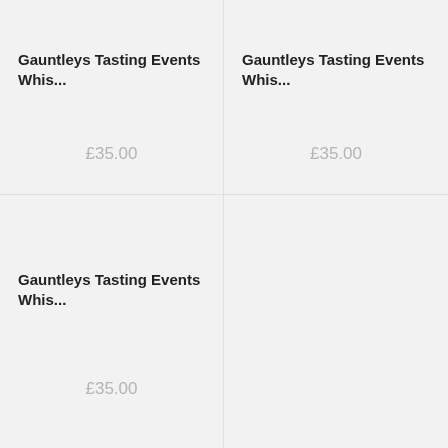Gauntleys Tasting Events Whis...
£35.00
Gauntleys Tasting Events Whis...
£35.00
Gauntleys Tasting Events Whis...
£35.00